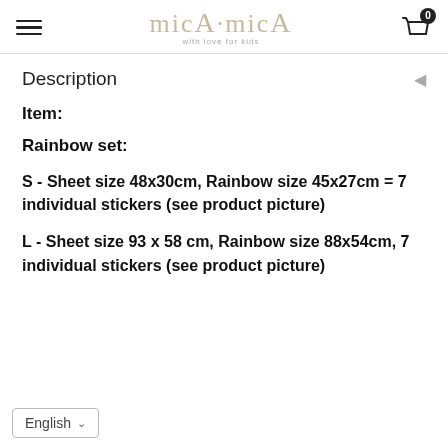micA·micA with love for kids
Description
Item:
Rainbow set:
S - Sheet size 48x30cm, Rainbow size 45x27cm = 7 individual stickers (see product picture)
L - Sheet size 93 x 58 cm, Rainbow size 88x54cm, 7 individual stickers (see product picture)